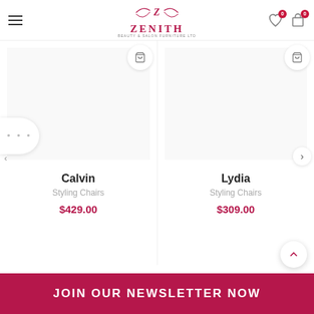Zenith Beauty & Salon Furniture Ltd — navigation header with logo, hamburger menu, wishlist (0), and cart (0) icons
[Figure (screenshot): E-commerce product carousel showing two styling chairs: Calvin at $429.00 and Lydia at $309.00, each with a category label 'Styling Chairs' and add-to-cart button]
Calvin
Styling Chairs
$429.00
Lydia
Styling Chairs
$309.00
JOIN OUR NEWSLETTER NOW